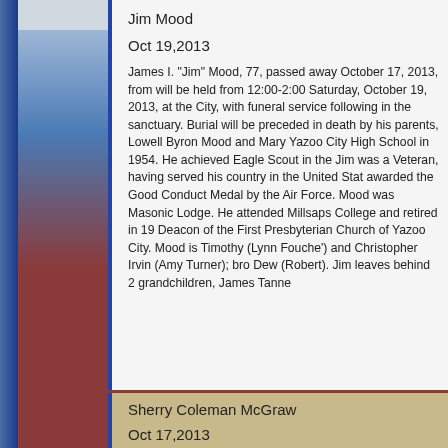Jim Mood
Oct 19,2013
James I. "Jim" Mood, 77, passed away October 17, 2013, from will be held from 12:00-2:00 Saturday, October 19, 2013, at the City, with funeral service following in the sanctuary. Burial will be preceded in death by his parents, Lowell Byron Mood and Mary Yazoo City High School in 1954. He achieved Eagle Scout in the Jim was a Veteran, having served his country in the United States awarded the Good Conduct Medal by the Air Force. Mood was Masonic Lodge. He attended Millsaps College and retired in 19 Deacon of the First Presbyterian Church of Yazoo City. Mood is Timothy (Lynn Fouche') and Christopher Irvin (Amy Turner); bro Dew (Robert). Jim leaves behind 2 grandchildren, James Tanne
Sherry Coleman McGraw
Oct 17,2013